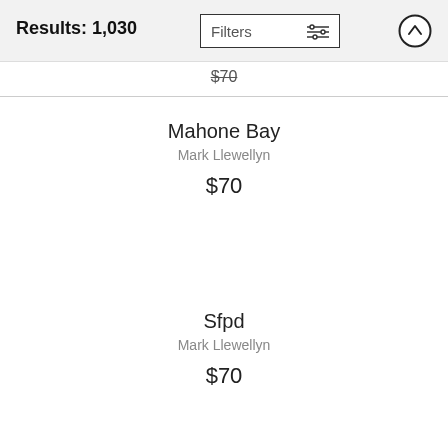Results: 1,030
Filters
$70
Mahone Bay
Mark Llewellyn
$70
Sfpd
Mark Llewellyn
$70